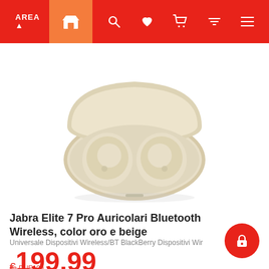AREA - navigation bar with shop, search, wishlist, cart, filter, menu icons
[Figure (photo): Jabra Elite 7 Pro true wireless earbuds in beige/gold color, shown in open charging case against white background]
Jabra Elite 7 Pro Auricolari Bluetooth Wireless, color oro e beige
Universale Dispositivi Wireless/BT BlackBerry Dispositivi Wir
€199,99
da DUE100